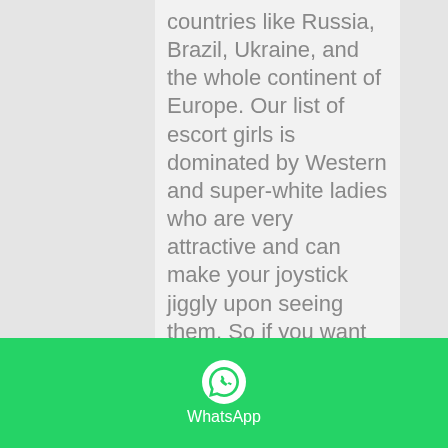countries like Russia, Brazil, Ukraine, and the whole continent of Europe. Our list of escort girls is dominated by Western and super-white ladies who are very attractive and can make your joystick jiggly upon seeing them. So if you want to return from your workplace after a very stressful day to the arms of a charming lady whom you can fuck and smash, you have come to the right place. As a matter of fact, we have plenty of girls waiting to be smashed by you. They can't wait to have your dick in their pussies.

We have the super attractive ones from Russia and the likes that you would love to go out on dates with. They are...
[Figure (other): WhatsApp button bar at the bottom with green background, WhatsApp phone icon, and 'WhatsApp' label in white text]